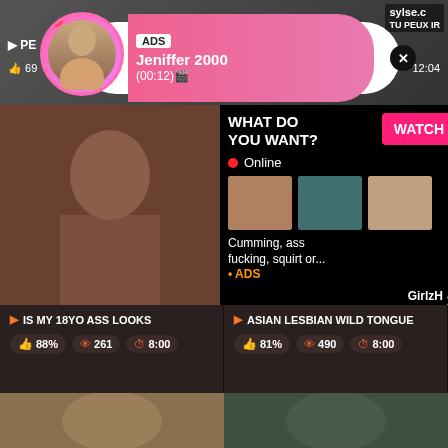[Figure (screenshot): Adult video streaming website screenshot with ads and video thumbnails]
sylse. TU PEUX IR
ADS
Jeniffer 2000
(00:12)
LIVE
WHAT DO YOU WANT?
WATCH
Online
Cumming, ass fucking, squirt or...
• ADS
GirlzH
IS MY 18YO ASS LOOKS
88%  261  8:00
ASIAN LESBIAN WILD TONGUE
81%  490  8:00
12:04